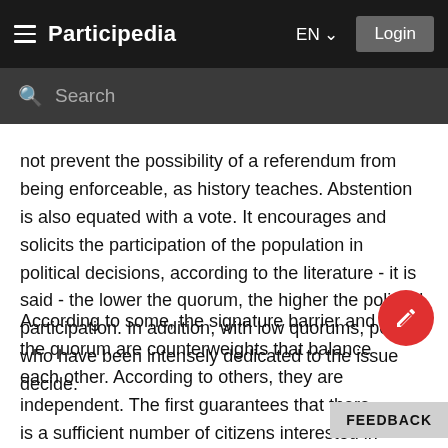Participedia — EN — Login
not prevent the possibility of a referendum from being enforceable, as history teaches. Abstention is also equated with a vote. It encourages and solicits the participation of the population in political decisions, according to the literature - it is said - the lower the quorum, the higher the political participation. In addition, with low quorums, people who have been intensely dedicated to the issue decide.
According to some, the signature barrier and the quorum are counterweights that balance each other. According to others, they are independent. The first guarantees that there is a sufficient number of citizens interested in the subject, while the quoru